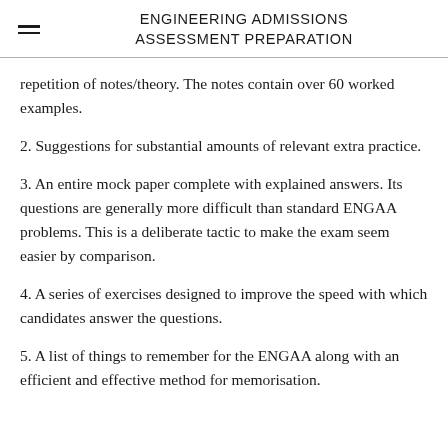ENGINEERING ADMISSIONS ASSESSMENT PREPARATION
repetition of notes/theory. The notes contain over 60 worked examples.
2. Suggestions for substantial amounts of relevant extra practice.
3. An entire mock paper complete with explained answers. Its questions are generally more difficult than standard ENGAA problems. This is a deliberate tactic to make the exam seem easier by comparison.
4. A series of exercises designed to improve the speed with which candidates answer the questions.
5. A list of things to remember for the ENGAA along with an efficient and effective method for memorisation.